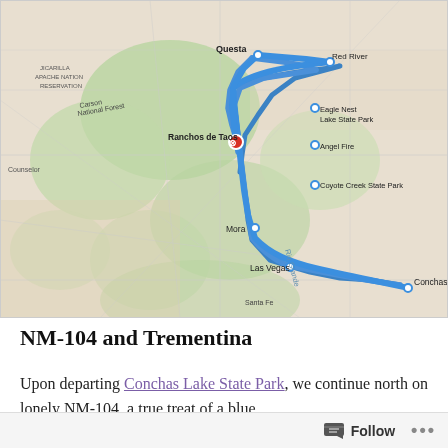[Figure (map): Google Maps route map showing a driving route from Conchas through Las Vegas, Mora, Coyote Creek State Park, Angel Fire, Eagle Nest Lake State Park, Red River to Questa and Ranchos de Taos, New Mexico. Route highlighted in blue. Travel time shown as 4 h 25 min, 213 miles.]
NM-104 and Trementina
Upon departing Conchas Lake State Park, we continue north on lonely NM-104, a true treat of a blue
Follow ...